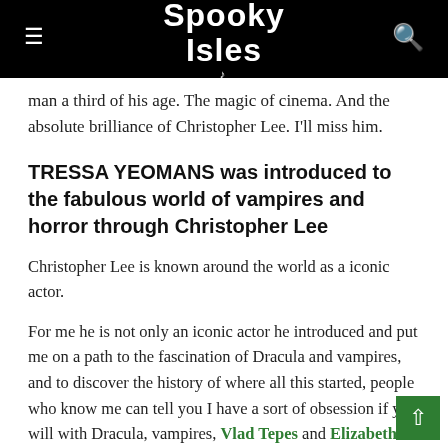Spooky Isles
man a third of his age. The magic of cinema. And the absolute brilliance of Christopher Lee. I'll miss him.
TRESSA YEOMANS was introduced to the fabulous world of vampires and horror through Christopher Lee
Christopher Lee is known around the world as a iconic actor.
For me he is not only an iconic actor he introduced and put me on a path to the fascination of Dracula and vampires, and to discover the history of where all this started, people who know me can tell you I have a sort of obsession if you will with Dracula, vampires, Vlad Tepes and Elizabeth Bathory,
With his co-star Peter Cushing in the Hammer horror